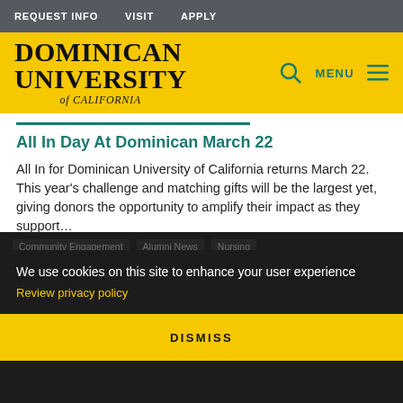REQUEST INFO   VISIT   APPLY
[Figure (logo): Dominican University of California logo on yellow background with search icon, MENU text and hamburger icon]
All In Day At Dominican March 22
All In for Dominican University of California returns March 22. This year's challenge and matching gifts will be the largest yet, giving donors the opportunity to amplify their impact as they support...
NEWS  University News  Scholarship  Grant
Community Engagement  Alumni News  Nursing  Athletics  Dominican LINES Ballet  COVID-19  Undergraduate Students  School Of Health And Natural Sciences
We use cookies on this site to enhance your user experience
Review privacy policy
DISMISS